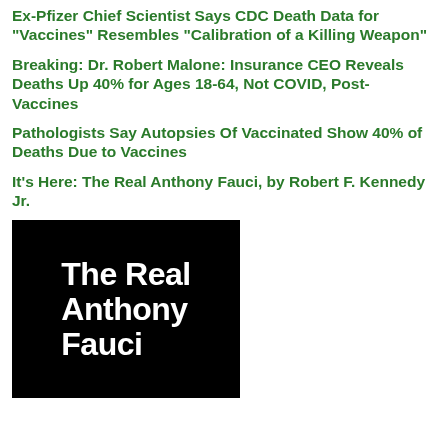Ex-Pfizer Chief Scientist Says CDC Death Data for "Vaccines" Resembles "Calibration of a Killing Weapon"
Breaking: Dr. Robert Malone: Insurance CEO Reveals Deaths Up 40% for Ages 18-64, Not COVID, Post-Vaccines
Pathologists Say Autopsies Of Vaccinated Show 40% of Deaths Due to Vaccines
It's Here: The Real Anthony Fauci, by Robert F. Kennedy Jr.
[Figure (illustration): Book cover with black background and white bold text reading 'The Real Anthony Fauci']